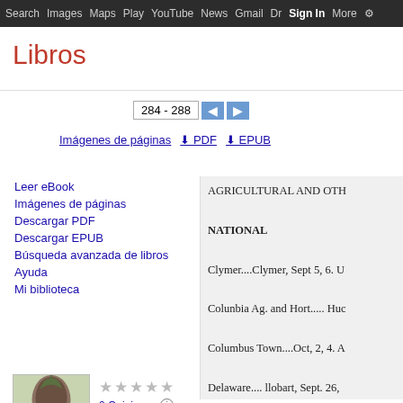Search  Images  Maps  Play  YouTube  News  Gmail  Dr  Sign In  More  ⚙
Libros
284 - 288
Imágenes de páginas   PDF   EPUB
Leer eBook
Imágenes de páginas
Descargar PDF
Descargar EPUB
Búsqueda avanzada de libros
Ayuda
Mi biblioteca
0 Opiniones
Escribir un comentario
The Cultivator
AGRICULTURAL AND OTH
NATIONAL
Clymer....Clymer, Sept 5, 6. U
Colunbia Ag. and Hort..... Huc
Columbus Town....Oct, 2, 4. A
Delaware.... llobart, Sept. 26,
Dutchess. Wash, Hollow,
              Essex.... Es
STATE
Alabama.... Montgomery, C